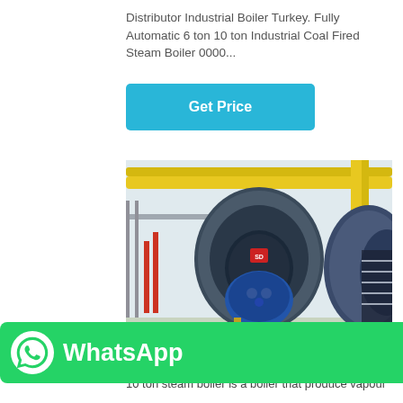Distributor Industrial Boiler Turkey. Fully Automatic 6 ton 10 ton Industrial Coal Fired Steam Boiler 0000...
Get Price
[Figure (photo): Industrial boiler room with large blue cylindrical steam boilers on platforms, yellow piping, and metal staircases in a white industrial facility]
[Figure (logo): WhatsApp green button with phone icon and WhatsApp text label]
n boiler
10 ton steam boiler is a boiler that produce vapour